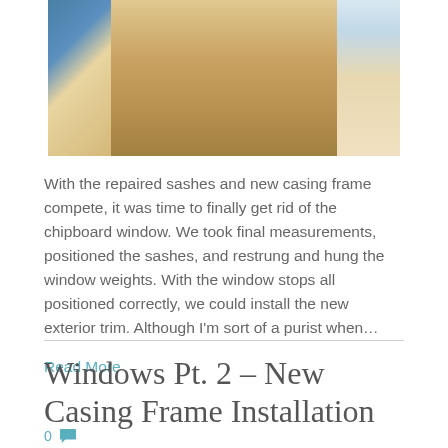[Figure (photo): Close-up photo of wooden window framing/lumber pieces stacked, with blue sky and another window visible in the background]
With the repaired sashes and new casing frame compete, it was time to finally get rid of the chipboard window. We took final measurements, positioned the sashes, and restrung and hung the window weights. With the window stops all positioned correctly, we could install the new exterior trim. Although I'm sort of a purist when…
Read More
Windows Pt. 2 – New Casing Frame Installation
0